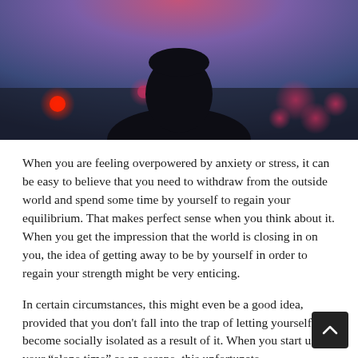[Figure (photo): Dark silhouette of a person from behind against a twilight sky with bokeh lights in red and purple tones]
When you are feeling overpowered by anxiety or stress, it can be easy to believe that you need to withdraw from the outside world and spend some time by yourself to regain your equilibrium. That makes perfect sense when you think about it. When you get the impression that the world is closing in on you, the idea of getting away to be by yourself in order to regain your strength might be very enticing.
In certain circumstances, this might even be a good idea, provided that you don't fall into the trap of letting yourself become socially isolated as a result of it. When you start using your “alone time” as an escape, this unfortunate